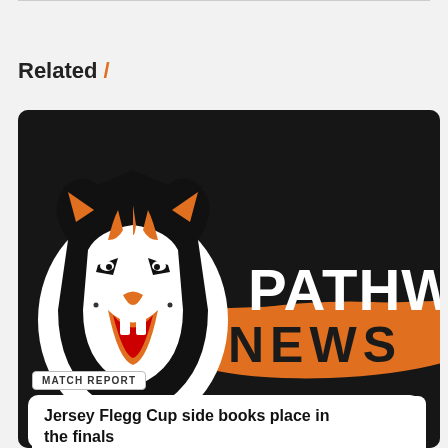Related /
[Figure (illustration): Pathway News card with tiger mascot logo on dark textured background, orange brush stroke with NEWS text, PATHWAY text in white bold lettering]
MATCH REPORT
Jersey Flegg Cup side books place in the finals